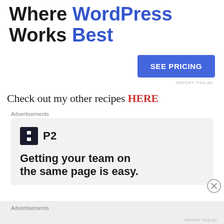The Platform Where WordPress Works Best
[Figure (other): SEE PRICING button — blue rectangle with white bold text]
REPORT THIS AD
Check out my other recipes HERE
Advertisements
[Figure (screenshot): Advertisement: P2 logo (dark square icon with H shape and P2 text). Headline: Getting your team on the same page is easy.]
Advertisements
REPORT THIS AD